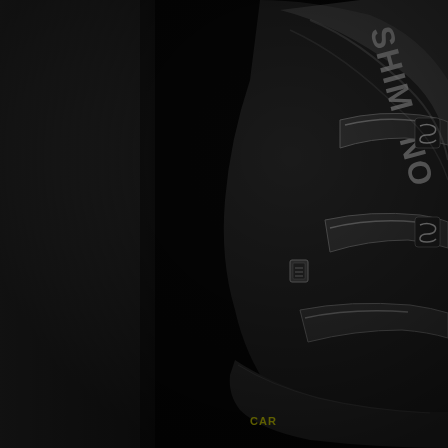[Figure (photo): Close-up photograph of a black Shimano cycling shoe against a dark/black background. The shoe is viewed from the side, showing the upper portion with the 'SHIMANO' brand name embossed vertically along the side in silver/grey letters. The shoe features multiple overlapping strap/buckle closures with the Shimano 'S' logo. The sole area shows yellow text reading 'CAR...' (partially visible, likely 'CARBON'). The left portion of the image shows a dark grey vertical panel/strip. The image is dramatically lit with high contrast against the black background.]